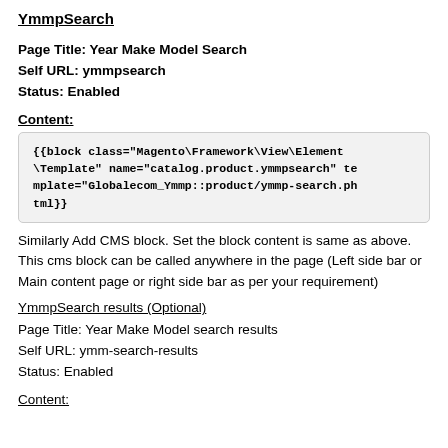YmmpSearch
Page Title: Year Make Model Search
Self URL: ymmpsearch
Status: Enabled
Content:
{{block class="Magento\Framework\View\Element\Template" name="catalog.product.ymmpsearch" template="Globalecom_Ymmp::product/ymmp-search.phtml}}
Similarly Add CMS block. Set the block content is same as above. This cms block can be called anywhere in the page (Left side bar or Main content page or right side bar as per your requirement)
YmmpSearch results (Optional)
Page Title: Year Make Model search results
Self URL: ymm-search-results
Status: Enabled
Content: